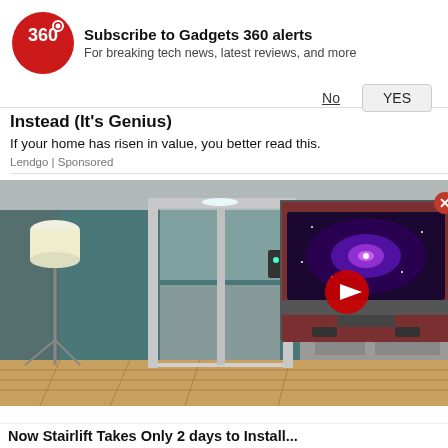[Figure (screenshot): Gadgets 360 notification subscription banner with red circular logo showing '360', bold title 'Subscribe to Gadgets 360 alerts', subtitle 'For breaking tech news, latest reviews, and more', and two buttons: 'No' (underlined) and 'YES' (button)]
Instead (It's Genius)
If your home has risen in value, you better read this.
Lendgo | Sponsored
[Figure (photo): Interior room with a home elevator/lift unit, floor lamp with tripod stand, kitchen area in background with white tile backsplash and wooden countertop. Hardwood floors. Modern home setting.]
[Figure (screenshot): Video thumbnail overlay showing a TV displaying a spiral galaxy image on a dark red/brown wall, with a red play button circle in center. Red X close button in top-right corner.]
Now Stairlift Takes Only 2 days to Install...